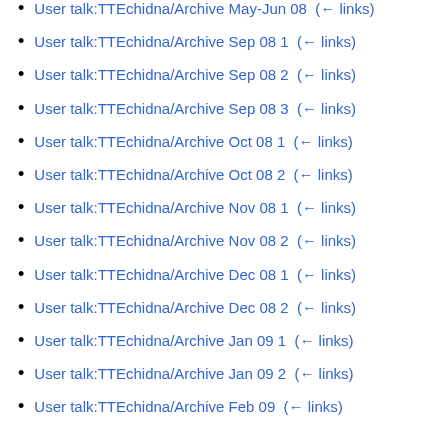User talk:TTEchidna/Archive May-Jun 08  (← links)
User talk:TTEchidna/Archive Sep 08 1  (← links)
User talk:TTEchidna/Archive Sep 08 2  (← links)
User talk:TTEchidna/Archive Sep 08 3  (← links)
User talk:TTEchidna/Archive Oct 08 1  (← links)
User talk:TTEchidna/Archive Oct 08 2  (← links)
User talk:TTEchidna/Archive Nov 08 1  (← links)
User talk:TTEchidna/Archive Nov 08 2  (← links)
User talk:TTEchidna/Archive Dec 08 1  (← links)
User talk:TTEchidna/Archive Dec 08 2  (← links)
User talk:TTEchidna/Archive Jan 09 1  (← links)
User talk:TTEchidna/Archive Jan 09 2  (← links)
User talk:TTEchidna/Archive Feb 09  (← links)